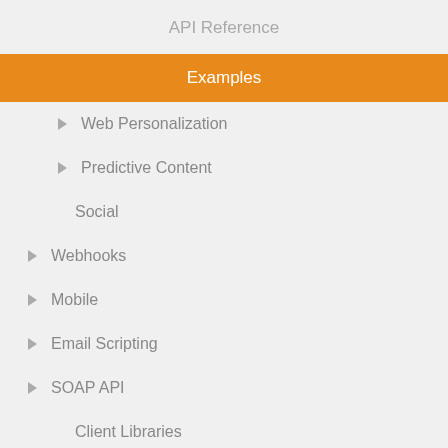API Reference
Examples
Web Personalization
Predictive Content
Social
Webhooks
Mobile
Email Scripting
SOAP API
Client Libraries